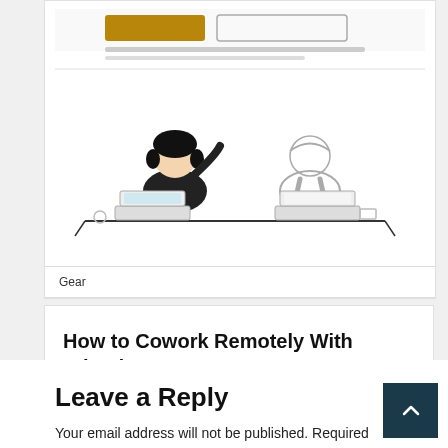[Figure (illustration): A card showing a blog post thumbnail. At the top are two UI buttons (one brown/gold, one outlined). Below is small caption text. The main illustration shows two people working at a desk with laptops facing each other, drawn in a simple line-art style.]
Gear
How to Cowork Remotely With Friends—or Strangers
1 day ago  Randy Garrison
Leave a Reply
Your email address will not be published. Required